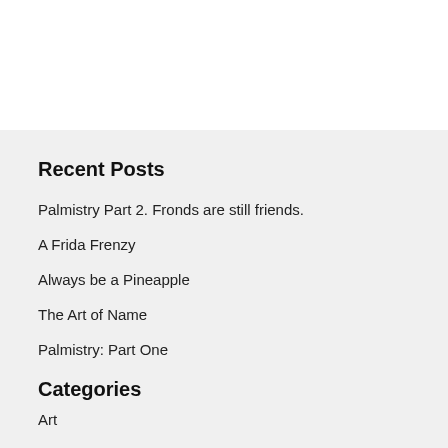Recent Posts
Palmistry Part 2. Fronds are still friends.
A Frida Frenzy
Always be a Pineapple
The Art of Name
Palmistry: Part One
Categories
Art